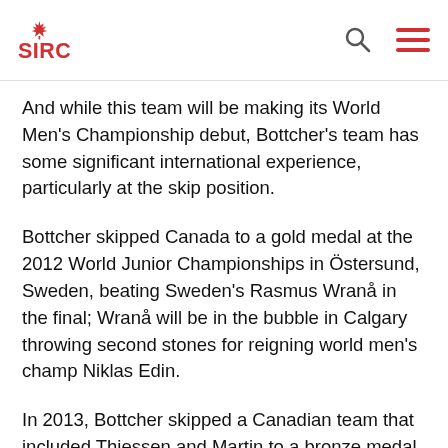SIRC
And while this team will be making its World Men's Championship debut, Bottcher's team has some significant international experience, particularly at the skip position.
Bottcher skipped Canada to a gold medal at the 2012 World Junior Championships in Östersund, Sweden, beating Sweden's Rasmus Wranå in the final; Wranå will be in the bubble in Calgary throwing second stones for reigning world men's champ Niklas Edin.
In 2013, Bottcher skipped a Canadian team that included Thiessen and Martin to a bronze medal at Winter Universiade in Trentino, Italy, where they